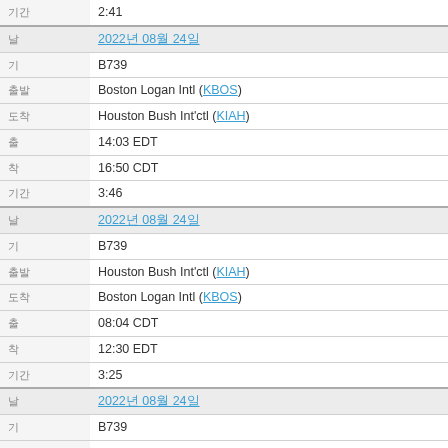| label | value |
| --- | --- |
|  | 2:41 |
|  | 2022년 08월 24일 |
|  | B739 |
|  | Boston Logan Intl (KBOS) |
|  | Houston Bush Int'ctl (KIAH) |
|  | 14:03 EDT |
|  | 16:50 CDT |
|  | 3:46 |
|  | 2022년 08월 24일 |
|  | B739 |
|  | Houston Bush Int'ctl (KIAH) |
|  | Boston Logan Intl (KBOS) |
|  | 08:04 CDT |
|  | 12:30 EDT |
|  | 3:25 |
|  | 2022년 08월 24일 |
|  | B739 |
|  | Portland Intl (KPDX) |
|  | Houston Bush Int'ctl (KIAH) |
|  | 00:32 PDT |